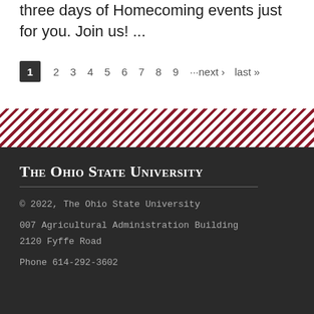three days of Homecoming events just for you. Join us! ...
1  2  3  4  5  6  7  8  9  ···next ›  last »
[Figure (other): Diagonal red and white stripe decorative banner divider]
The Ohio State University
© 2022, The Ohio State University
007 Agricultural Administration Building
2120 Fyffe Road
Phone 614-292-3602